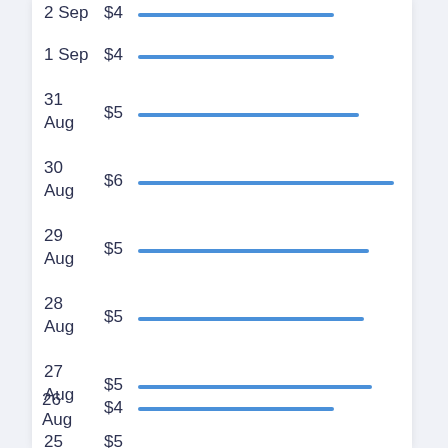[Figure (bar-chart): Daily prices (horizontal bar chart)]